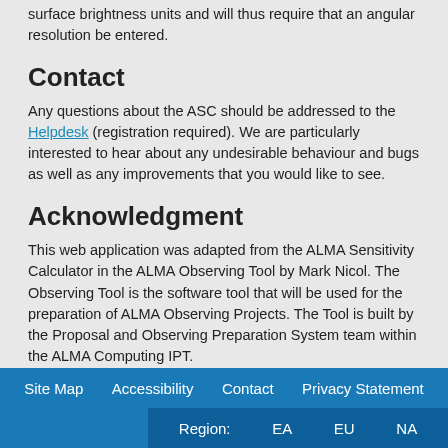surface brightness units and will thus require that an angular resolution be entered.
Contact
Any questions about the ASC should be addressed to the Helpdesk (registration required). We are particularly interested to hear about any undesirable behaviour and bugs as well as any improvements that you would like to see.
Acknowledgment
This web application was adapted from the ALMA Sensitivity Calculator in the ALMA Observing Tool by Mark Nicol. The Observing Tool is the software tool that will be used for the preparation of ALMA Observing Projects. The Tool is built by the Proposal and Observing Preparation System team within the ALMA Computing IPT.
Site Map   Accessibility   Contact   Privacy Statement   Region: EA   EU   NA